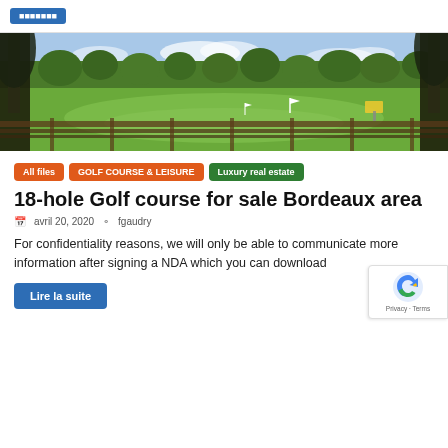[Figure (photo): Panoramic view of a golf course with green fairways, trees, and a wooden railing in the foreground under a partly cloudy sky.]
All files | GOLF COURSE & LEISURE | Luxury real estate
18-hole Golf course for sale Bordeaux area
avril 20, 2020   fgaudry
For confidentiality reasons, we will only be able to communicate more information after signing a NDA which you can download
Lire la suite